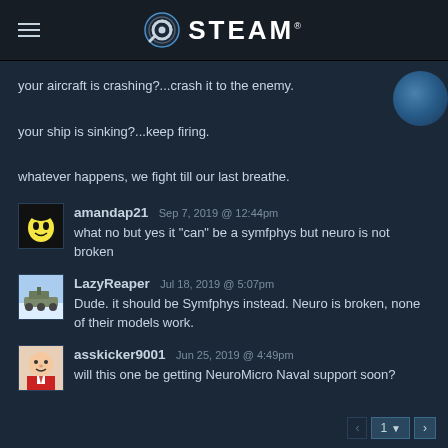STEAM
your aircraft is crashing?...crash it to the enemy.

your ship is sinking?...keep firing.

whatever happens, we fight till our last breathe.
amandap21  Sep 7, 2019 @ 12:44pm
what no but yes it "can" be a symfphys but neuro is not broken
LazyReaper  Jul 18, 2019 @ 5:07pm
Dude. it should be Symfphys instead. Neuro is broken, none of their models work.
asskicker9001  Jun 25, 2019 @ 4:49pm
will this one be getting NeuroMicro Naval support soon?